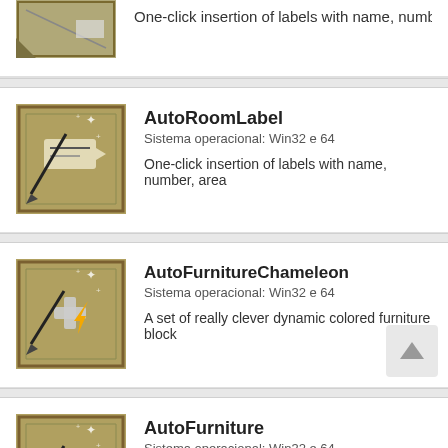[Figure (screenshot): Partial top icon for a plugin listing]
One-click insertion of labels with name, number, area
[Figure (screenshot): AutoRoomLabel plugin icon showing label tag with pen on blueprint background]
AutoRoomLabel
Sistema operacional: Win32 e 64
One-click insertion of labels with name, number, area
[Figure (screenshot): AutoFurnitureChameleon plugin icon showing furniture blocks with lightning bolt on blueprint background]
AutoFurnitureChameleon
Sistema operacional: Win32 e 64
A set of really clever dynamic colored furniture block
[Figure (screenshot): AutoFurniture plugin icon showing furniture blocks with lightning bolt on blueprint background]
AutoFurniture
Sistema operacional: Win32 e 64
A set of really clever dynamic colored furniture block
[Figure (screenshot): Partial bottom icon for another plugin listing]